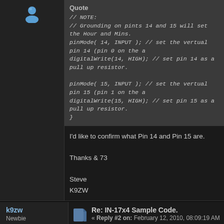[Figure (other): Blue user avatar icon (top left sidebar)]
// NOTE:
// Grounding on pints 14 and 15 will set the Hour and Mins.
pinMode( 14, INPUT ); // set the vertual pin 14 (pin 0 on the a
digitalWrite(14, HIGH); // set pin 14 as a pull up resistor.

pinMode( 15, INPUT ); // set the vertual pin 15 (pin 1 on the a
digitalWrite(15, HIGH); // set pin 15 as a pull up resistor.
}
I'd like to confirm what Pin 14 and Pin 15 are.

Thanks & 73

Steve
K9ZW
k9zw
Newbie
★
Posts: 17
Re: IN-17x4 Sample Code.
« Reply #2 on: February 12, 2010, 08:09:19 AM »
My first built seems to be gaining about 10-15 secon days of burn in.  Reference is a WWV Clock.
If this ends up being a constant, is there an easy wa